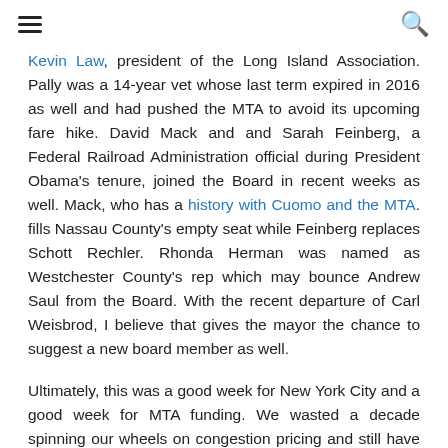≡  🔍
Kevin Law, president of the Long Island Association. Pally was a 14-year vet whose last term expired in 2016 as well and had pushed the MTA to avoid its upcoming fare hike. David Mack and and Sarah Feinberg, a Federal Railroad Administration official during President Obama's tenure, joined the Board in recent weeks as well. Mack, who has a history with Cuomo and the MTA. fills Nassau County's empty seat while Feinberg replaces Schott Rechler. Rhonda Herman was named as Westchester County's rep which may bounce Andrew Saul from the Board. With the recent departure of Carl Weisbrod, I believe that gives the mayor the chance to suggest a new board member as well.
Ultimately, this was a good week for New York City and a good week for MTA funding. We wasted a decade spinning our wheels on congestion pricing and still have to push through a properly limited plan to ensure it isn't captured by special interests, but